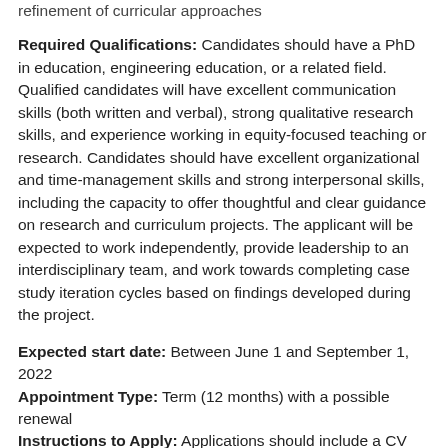refinement of curricular approaches
Required Qualifications: Candidates should have a PhD in education, engineering education, or a related field. Qualified candidates will have excellent communication skills (both written and verbal), strong qualitative research skills, and experience working in equity-focused teaching or research. Candidates should have excellent organizational and time-management skills and strong interpersonal skills, including the capacity to offer thoughtful and clear guidance on research and curriculum projects. The applicant will be expected to work independently, provide leadership to an interdisciplinary team, and work towards completing case study iteration cycles based on findings developed during the project.
Expected start date: Between June 1 and September 1, 2022 Appointment Type: Term (12 months) with a possible renewal Instructions to Apply: Applications should include a CV and a statement of research interests. Qualified candidates may be asked to submit at least two letters of reference, if they are strongly being considered for the position. Applications should be sent by May 1, to DEIJcases@umich.edu. Evaluation of candidates will begin immediately, and continue until filled.